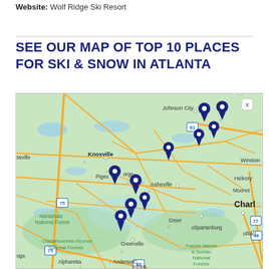Website: Wolf Ridge Ski Resort
SEE OUR MAP OF TOP 10 PLACES FOR SKI & SNOW IN ATLANTA
[Figure (map): Google Maps view showing southeastern US region including Knoxville, Johnson City, Asheville, Charlotte, Chattahoochee-Oconee National Forests, Nantahala National Forest, Greenville, Spartanburg, Atlanta area. Multiple blue location pin markers indicating ski/snow locations in the Appalachian mountain region.]